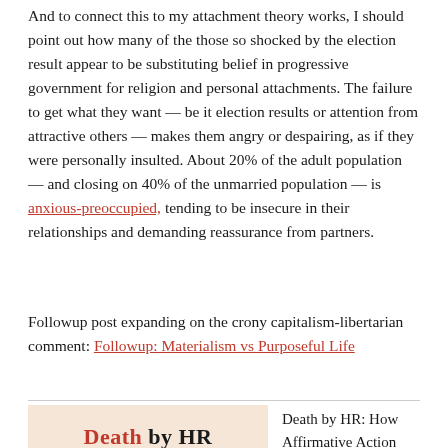And to connect this to my attachment theory works, I should point out how many of the those so shocked by the election result appear to be substituting belief in progressive government for religion and personal attachments. The failure to get what they want — be it election results or attention from attractive others — makes them angry or despairing, as if they were personally insulted. About 20% of the adult population — and closing on 40% of the unmarried population — is anxious-preoccupied, tending to be insecure in their relationships and demanding reassurance from partners.
Followup post expanding on the crony capitalism-libertarian comment: Followup: Materialism vs Purposeful Life
[Figure (illustration): Book cover image for 'Death by HR' with red and black title text and gear/cog wheel graphics on a light peach background]
Death by HR: How Affirmative Action Cripples Organizations
[From Death by HR: How Affirmative Action Cripples